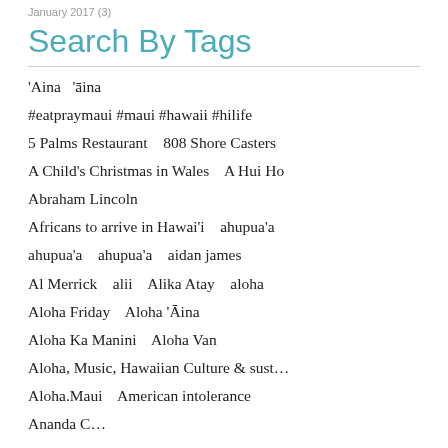January 2017 (3)
Search By Tags
'Aina   'āina
#eatpraymaui #maui #hawaii #hilife
5 Palms Restaurant    808 Shore Casters
A Child's Christmas in Wales    A Hui Ho
Abraham Lincoln
Africans to arrive in Hawai'i    ahupua'a
ahupua'a    ahupua'a    aidan james
Al Merrick    alii    Alika Atay    aloha
Aloha Friday    Aloha 'Āina
Aloha Ka Manini    Aloha Van
Aloha, Music, Hawaiian Culture & sust…
Aloha.Maui    American intolerance
Ananda C…